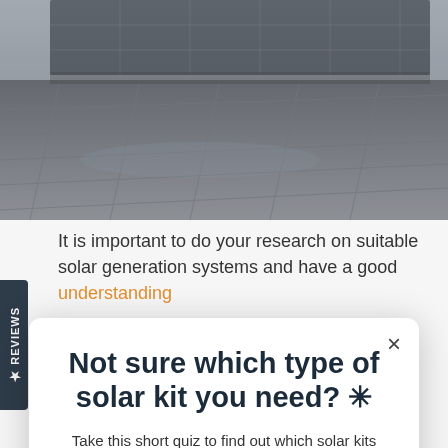[Figure (photo): Aerial or ground-level view of solar panels on a dark rooftop surface with industrial/commercial setting]
It is important to do your research on suitable solar generation systems and have a good understanding
[Figure (screenshot): Modal popup overlay with close button (×), title 'Not sure which type of solar kit you need? *', subtitle 'Take this short quiz to find out which solar kits make the most sense for your power needs!', and orange button 'TAKE THE QUIZ']
So, what's stopping you? It's time to go solar